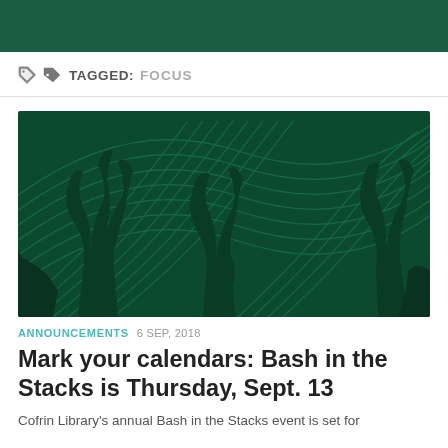TAGGED: FOCUS
[Figure (illustration): Dark green background with silhouettes of people (plant-like shapes) and wave/arc line patterns in lighter green creating an artistic decorative image.]
ANNOUNCEMENTS  6 SEP, 2018
Mark your calendars: Bash in the Stacks is Thursday, Sept. 13
Cofrin Library's annual Bash in the Stacks event is set for